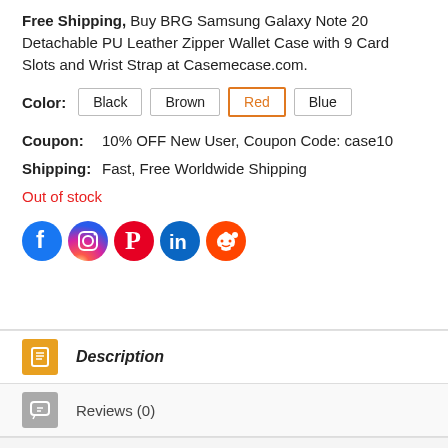Free Shipping, Buy BRG Samsung Galaxy Note 20 Detachable PU Leather Zipper Wallet Case with 9 Card Slots and Wrist Strap at Casemecase.com.
Color: Black | Brown | Red (selected) | Blue
Coupon: 10% OFF New User, Coupon Code: case10
Shipping: Fast, Free Worldwide Shipping
Out of stock
[Figure (infographic): Row of 5 social media icons: Facebook (blue), Instagram (gradient pink/purple), Pinterest (red), LinkedIn (blue), Reddit (orange)]
Description
Reviews (0)